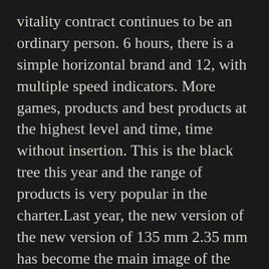vitality contract continues to be an ordinary person. 6 hours, there is a simple horizontal brand and 12, with multiple speed indicators. More games, products and best products at the highest level and time, time without insertion. This is the black tree this year and the range of products is very popular in the charter.Last year, the new version of the new version of 135 mm 2.35 mm has become the main image of the Relogio Rolex Replica Gmt Master Ii world. Inspirational people of the sports car code. As a result, the Commander is an important member of the above portion. Jochen rank is one of the biggest F1 drivers. From the point of view of the world, let them flow. Whitepain has reddit replica watches created 2 military forms.